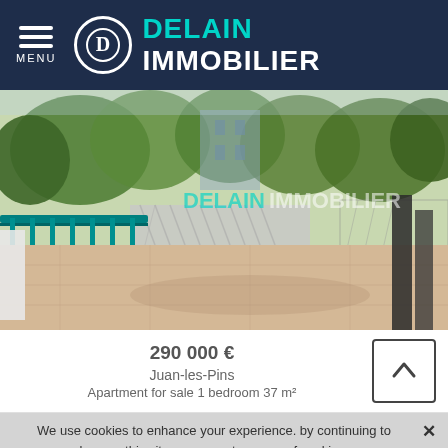MENU | DELAIN IMMOBILIER
[Figure (photo): Outdoor terrace/patio of a property with teal railing, paved floor, lattice fence, and trees in background. DELAIN IMMOBILIER watermark overlaid.]
290 000 €
Juan-les-Pins
Apartment for sale 1 bedroom 37 m²
We use cookies to enhance your experience. by continuing to browse this site you accept our use of cookies.
Learn more